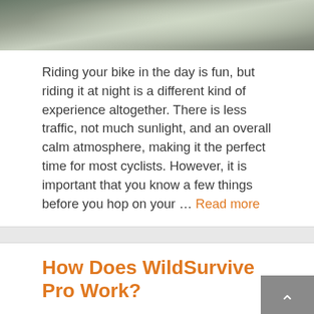[Figure (photo): Top portion of an outdoor nighttime or dark road/surface photo, cropped, showing a dark textured surface with some light reflection]
Riding your bike in the day is fun, but riding it at night is a different kind of experience altogether. There is less traffic, not much sunlight, and an overall calm atmosphere, making it the perfect time for most cyclists. However, it is important that you know a few things before you hop on your … Read more
How Does WildSurvive Pro Work?
[Figure (photo): Partial view of a gold circular emblem or medallion, cropped at bottom of page]